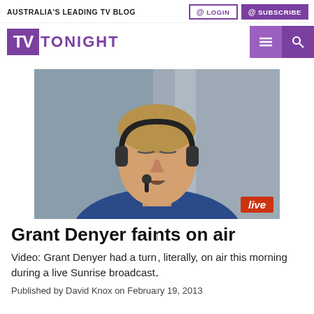AUSTRALIA'S LEADING TV BLOG
[Figure (logo): TV Tonight logo — purple TV box with 'TV' in white, followed by 'TONIGHT' in purple text]
[Figure (photo): Man wearing headphones and a lapel mic, eyes closed, leaning back — appears to be Grant Denyer fainting on live TV; a red 'live' badge appears in the bottom right corner]
Grant Denyer faints on air
Video: Grant Denyer had a turn, literally, on air this morning during a live Sunrise broadcast.
Published by David Knox on February 19, 2013